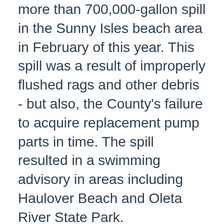…took a deep dive into these spills - including a more than 700,000-gallon spill in the Sunny Isles beach area in February of this year. This spill was a result of improperly flushed rags and other debris - but also, the County's failure to acquire replacement pump parts in time. The spill resulted in a swimming advisory in areas including Haulover Beach and Oleta River State Park.
Miami Dade County's Consent Decree requires a $1.6 billion investment in the wastewater infrastructure of this region. But, with these spills - it feels like we aren't moving fast enough. "Miami Dade County experiences sewage spills several times a month," says